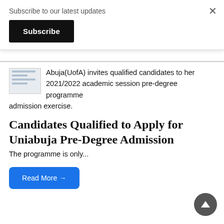Subscribe to our latest updates
Subscribe
Abuja(UofA) invites qualified candidates to her 2021/2022 academic session pre-degree programme admission exercise.
Candidates Qualified to Apply for Uniabuja Pre-Degree Admission
The programme is only...
Read More →